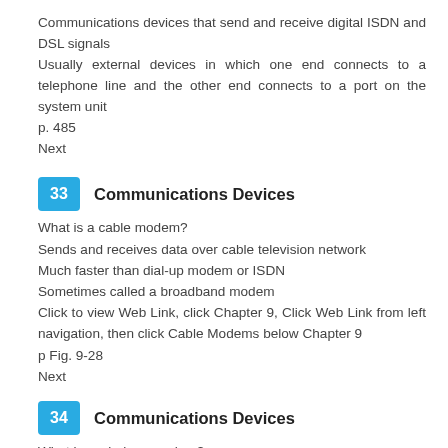Communications devices that send and receive digital ISDN and DSL signals
Usually external devices in which one end connects to a telephone line and the other end connects to a port on the system unit
p. 485
Next
33   Communications Devices
What is a cable modem?
Sends and receives data over cable television network
Much faster than dial-up modem or ISDN
Sometimes called a broadband modem
Click to view Web Link, click Chapter 9, Click Web Link from left navigation, then click Cable Modems below Chapter 9
p Fig. 9-28
Next
34   Communications Devices
What is a wireless modem?
Allows access to the Web wirelessly from a notebook computer, a smart phone, or other mobile device